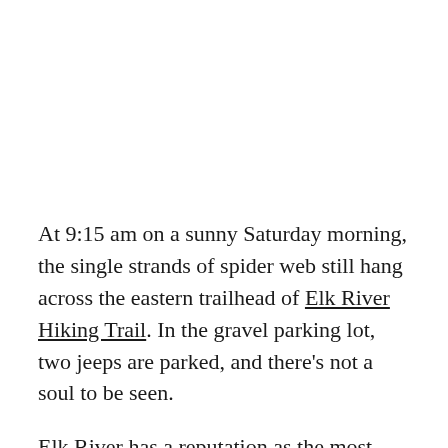At 9:15 am on a sunny Saturday morning, the single strands of spider web still hang across the eastern trailhead of Elk River Hiking Trail. In the gravel parking lot, two jeeps are parked, and there's not a soul to be seen.
Elk River has a reputation as the most rugged hiking trail in Kansas. From the eastern trailhead at the corner of two roads, the route travels along...